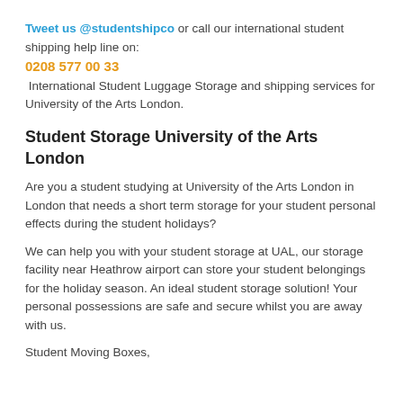Tweet us @studentshipco or call our international student shipping help line on: 0208 577 00 33 International Student Luggage Storage and shipping services for University of the Arts London.
Student Storage University of the Arts London
Are you a student studying at University of the Arts London in London that needs a short term storage for your student personal effects during the student holidays?
We can help you with your student storage at UAL, our storage facility near Heathrow airport can store your student belongings for the holiday season. An ideal student storage solution! Your personal possessions are safe and secure whilst you are away with us.
Student Moving Boxes,